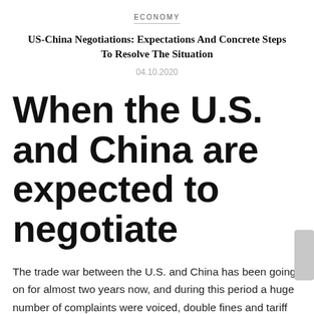ECONOMY
US-China Negotiations: Expectations And Concrete Steps To Resolve The Situation
04.10.2020
When the U.S. and China are expected to negotiate
The trade war between the U.S. and China has been going on for almost two years now, and during this period a huge number of complaints were voiced, double fines and tariff increases